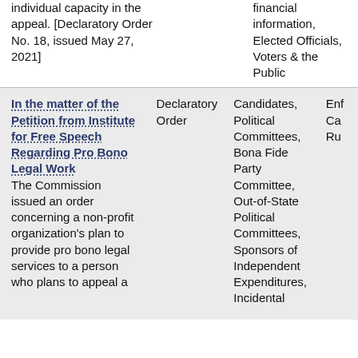individual capacity in the appeal. [Declaratory Order No. 18, issued May 27, 2021]
financial information, Elected Officials, Voters & the Public
| Matter | Type | Affected Parties | Enf... |
| --- | --- | --- | --- |
| In the matter of the Petition from Institute for Free Speech Regarding Pro Bono Legal Work
The Commission issued an order concerning a non-profit organization's plan to provide pro bono legal services to a person who plans to appeal... | Declaratory Order | Candidates, Political Committees, Bona Fide Party Committee, Out-of-State Political Committees, Sponsors of Independent Expenditures, Incidental Committees... | Enf... Cas... Rul... |